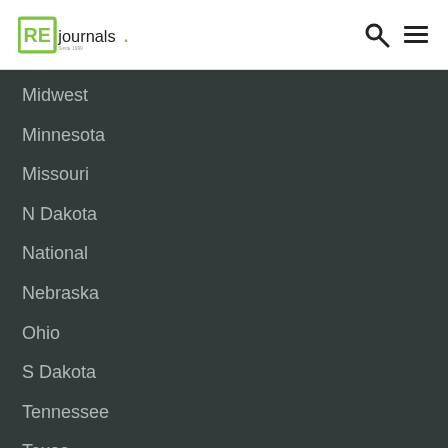RE journals
Midwest
Minnesota
Missouri
N Dakota
National
Nebraska
Ohio
S Dakota
Tennessee
Texas
Wisconsin
SECTOR
CRE